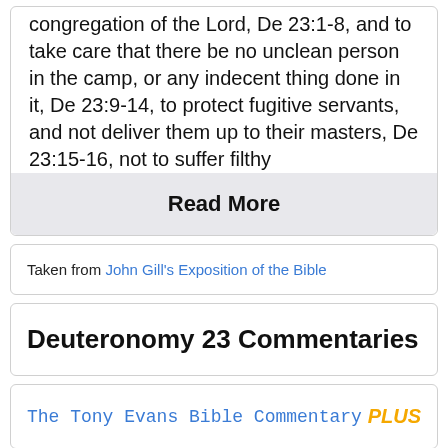congregation of the Lord, De 23:1-8, and to take care that there be no unclean person in the camp, or any indecent thing done in it, De 23:9-14, to protect fugitive servants, and not deliver them up to their masters, De 23:15-16, not to suffer filthy
Read More
Taken from John Gill's Exposition of the Bible
Deuteronomy 23 Commentaries
The Tony Evans Bible Commentary PLUS